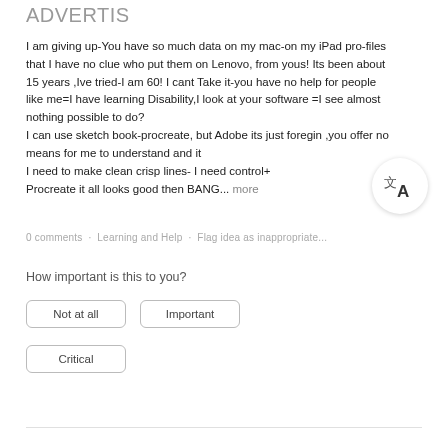ADVERTIS
I am giving up-You have so much data on my mac-on my iPad pro-files that I have no clue who put them on Lenovo, from yous! Its been about 15 years ,Ive tried-I am 60! I cant Take it-you have no help for people like me=I have learning Disability,I look at your software =I see almost nothing possible to do?
I can use sketch book-procreate, but Adobe its just foregin ,you offer no means for me to understand and it
I need to make clean crisp lines- I need control+
Procreate it all looks good then BANG... more
0 comments · Learning and Help · Flag idea as inappropriate...
How important is this to you?
Not at all
Important
Critical